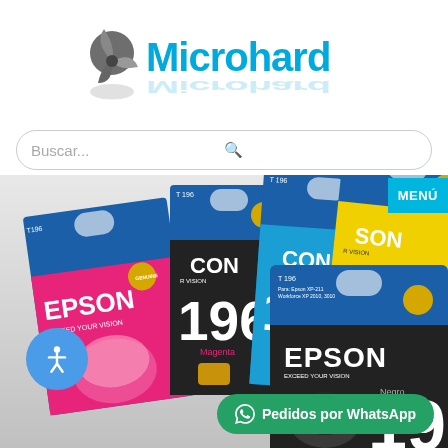[Figure (logo): Microhard logo with a stylized blue pinwheel/shutter icon and reflection, with the text 'Microhard' in blue gradient]
Buscar...
MENÚ
[Figure (photo): Epson 196 ink cartridges in multiple colors: magenta, cyan, yellow, and black packaging displayed fanned out]
Pedidos por WhatsApp